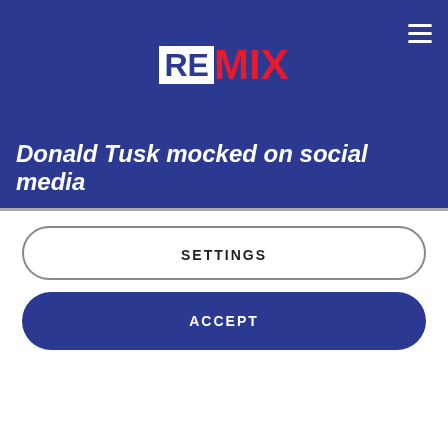REMIX
Donald Tusk mocked on social media
Cookie Policy
We use cookies on the Website to ensure the functionality, to ease of use and security of the website, as well as to monitor user activity and to collect information about your browsing habits in order to make advertising relevant to you and your interests.
Clicking on "Accept" you can allow all cookies. If you would like to reject or customize, please click on "Settings".
Read more: Cookie Policy
SETTINGS
ACCEPT